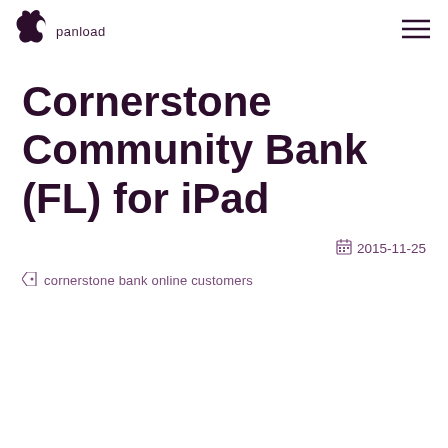panload
Cornerstone Community Bank (FL) for iPad
2015-11-25
cornerstone bank online customers